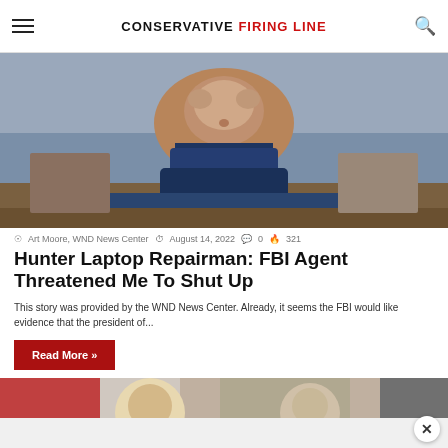CONSERVATIVE FIRING LINE
[Figure (photo): Man in navy blue sweater sitting indoors, blurred background with kitchen/living area]
Art Moore, WND News Center  August 14, 2022  0  321
Hunter Laptop Repairman: FBI Agent Threatened Me To Shut Up
This story was provided by the WND News Center. Already, it seems the FBI would like evidence that the president of...
Read More »
[Figure (photo): Group of people at an outdoor event, partial view of faces including an elderly man with glasses]